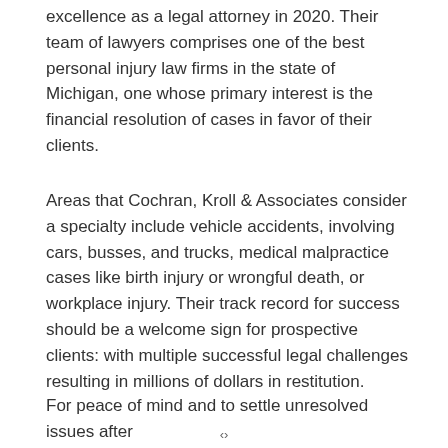excellence as a legal attorney in 2020. Their team of lawyers comprises one of the best personal injury law firms in the state of Michigan, one whose primary interest is the financial resolution of cases in favor of their clients.
Areas that Cochran, Kroll & Associates consider a specialty include vehicle accidents, involving cars, busses, and trucks, medical malpractice cases like birth injury or wrongful death, or workplace injury. Their track record for success should be a welcome sign for prospective clients: with multiple successful legal challenges resulting in millions of dollars in restitution.
For peace of mind and to settle unresolved issues after contacting Cochran, Kroll & Associates...